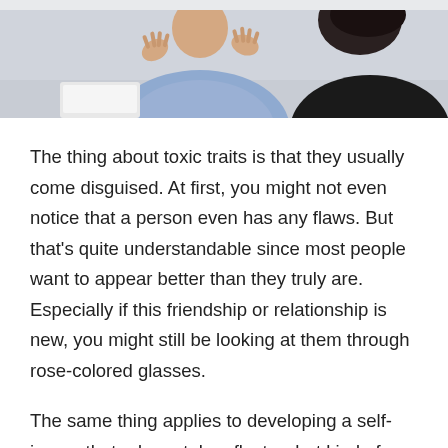[Figure (photo): Two people in a meeting or conversation setting. One person in a light blue shirt with hands raised in a gesturing motion, another person with dark hair visible from behind.]
The thing about toxic traits is that they usually come disguised. At first, you might not even notice that a person even has any flaws. But that’s quite understandable since most people want to appear better than they truly are. Especially if this friendship or relationship is new, you might still be looking at them through rose-colored glasses.
The same thing applies to developing a self-image that adequately reflects what kind of person you are.